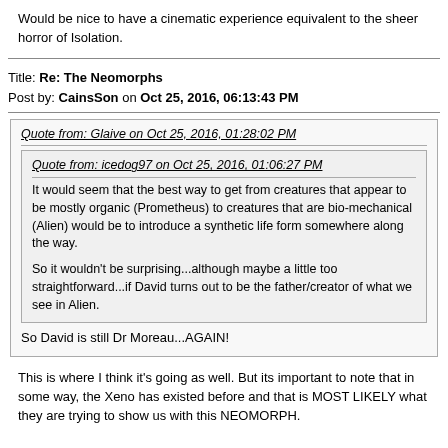Would be nice to have a cinematic experience equivalent to the sheer horror of Isolation.
Title: Re: The Neomorphs
Post by: CainsSon on Oct 25, 2016, 06:13:43 PM
Quote from: Glaive on Oct 25, 2016, 01:28:02 PM
Quote from: icedog97 on Oct 25, 2016, 01:06:27 PM
It would seem that the best way to get from creatures that appear to be mostly organic (Prometheus) to creatures that are bio-mechanical (Alien) would be to introduce a synthetic life form somewhere along the way.

So it wouldn't be surprising...although maybe a little too straightforward...if David turns out to be the father/creator of what we see in Alien.
So David is still Dr Moreau...AGAIN!
This is where I think it's going as well. But its important to note that in some way, the Xeno has existed before and that is MOST LIKELY what they are trying to show us with this NEOMORPH.